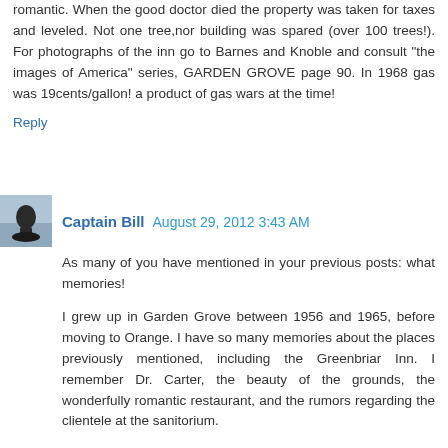romantic. When the good doctor died the property was taken for taxes and leveled. Not one tree,nor building was spared (over 100 trees!). For photographs of the inn go to Barnes and Knoble and consult "the images of America" series, GARDEN GROVE page 90. In 1968 gas was 19cents/gallon! a product of gas wars at the time!
Reply
Captain Bill   August 29, 2012 3:43 AM
As many of you have mentioned in your previous posts: what memories!
I grew up in Garden Grove between 1956 and 1965, before moving to Orange. I have so many memories about the places previously mentioned, including the Greenbriar Inn. I remember Dr. Carter, the beauty of the grounds, the wonderfully romantic restaurant, and the rumors regarding the clientele at the sanitorium.
My mother worked as a waitress at the restaurant, and I don't remember her having anything bad to say about the